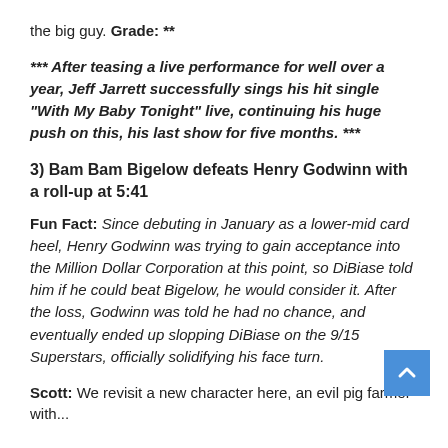the big guy. Grade: **
*** After teasing a live performance for well over a year, Jeff Jarrett successfully sings his hit single “With My Baby Tonight” live, continuing his huge push on this, his last show for five months. ***
3) Bam Bam Bigelow defeats Henry Godwinn with a roll-up at 5:41
Fun Fact: Since debuting in January as a lower-mid card heel, Henry Godwinn was trying to gain acceptance into the Million Dollar Corporation at this point, so DiBiase told him if he could beat Bigelow, he would consider it. After the loss, Godwinn was told he had no chance, and eventually ended up slopping DiBiase on the 9/15 Superstars, officially solidifying his face turn.
Scott: We revisit a new character here, an evil pig farmer with...